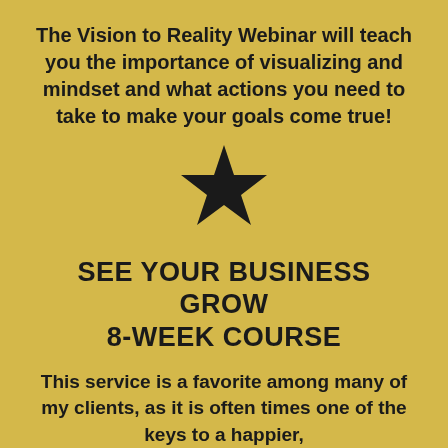The Vision to Reality Webinar will teach you the importance of visualizing and mindset and what actions you need to take to make your goals come true!
[Figure (illustration): A large black five-pointed star centered on the page]
SEE YOUR BUSINESS GROW 8-WEEK COURSE
This service is a favorite among many of my clients, as it is often times one of the keys to a happier,